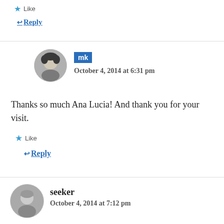★ Like
↩ Reply
mk — October 4, 2014 at 6:31 pm
Thanks so much Ana Lucia! And thank you for your visit.
★ Like
↩ Reply
seeker — October 4, 2014 at 7:12 pm